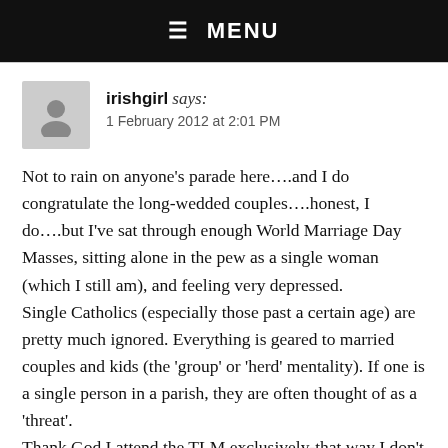☰ MENU
irishgirl says:
1 February 2012 at 2:01 PM
Not to rain on anyone's parade here….and I do congratulate the long-wedded couples….honest, I do….but I've sat through enough World Marriage Day Masses, sitting alone in the pew as a single woman (which I still am), and feeling very depressed.
Single Catholics (especially those past a certain age) are pretty much ignored. Everything is geared to married couples and kids (the 'group' or 'herd' mentality). If one is a single person in a parish, they are often thought of as a 'threat'.
Thank God I attend the TLM exclusively-that way I don't have to endure the attention paid to married people at the expense of those of us who never got married and have to spend the rest of